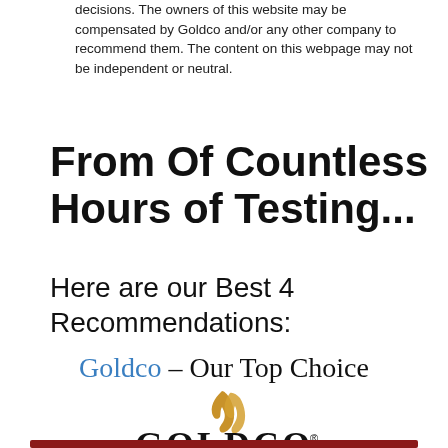decisions. The owners of this website may be compensated by Goldco and/or any other company to recommend them. The content on this webpage may not be independent or neutral.
From Of Countless Hours of Testing...
Here are our Best 4 Recommendations:
Goldco – Our Top Choice
[Figure (logo): Goldco logo with golden flame/swoosh above the text GOLDCO with a registered trademark symbol]